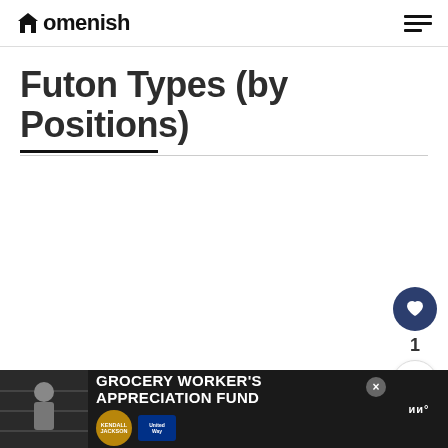Homenish
Futon Types (by Positions)
[Figure (other): Blank white content area for article body]
[Figure (other): Heart/like button showing count of 1 and share button in circular icons on right side]
[Figure (other): Advertisement banner: GROCERY WORKER'S APPRECIATION FUND with Kendall-Jackson and United Way logos]